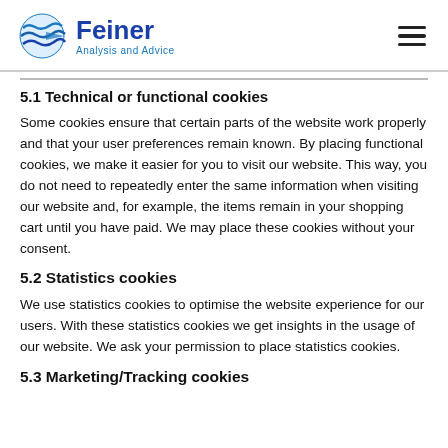Feiner Analysis and Advice
5.1 Technical or functional cookies
Some cookies ensure that certain parts of the website work properly and that your user preferences remain known. By placing functional cookies, we make it easier for you to visit our website. This way, you do not need to repeatedly enter the same information when visiting our website and, for example, the items remain in your shopping cart until you have paid. We may place these cookies without your consent.
5.2 Statistics cookies
We use statistics cookies to optimise the website experience for our users. With these statistics cookies we get insights in the usage of our website. We ask your permission to place statistics cookies.
5.3 Marketing/Tracking cookies